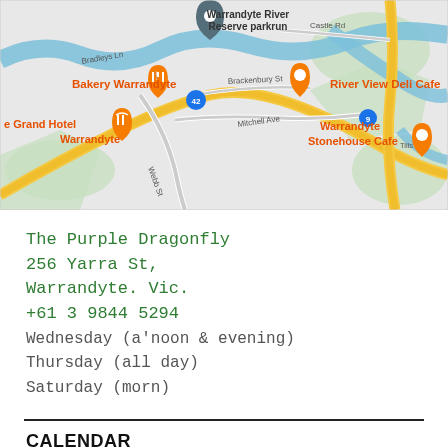[Figure (map): Google map of Warrandyte area showing Warrandyte River Reserve parkrun location, with nearby businesses: Bakery Warrandyte, River View Deli Cafe, The Grand Hotel Warrandyte, Warrandyte Stonehouse Cafe. Roads include Webb St, Mitchell Ave, Brackenbury St, Castle Rd, Tills Dr. Route 42 and route 9 markers visible.]
The Purple Dragonfly
256 Yarra St,
Warrandyte. Vic.
+61 3 9844 5294
Wednesday (a'noon & evening)
Thursday (all day)
Saturday (morn)
CALENDAR